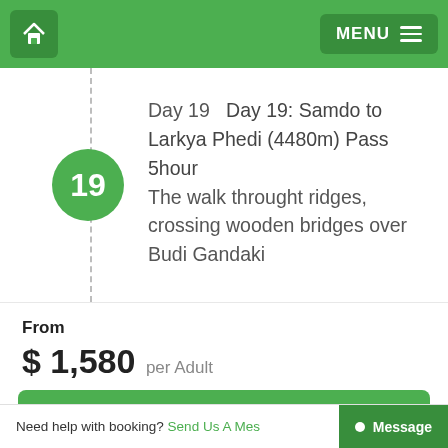Home | MENU
Day 19   Day 19: Samdo to Larkya Phedi (4480m) Pass 5hour The walk throught ridges, crossing wooden bridges over Budi Gandaki
From
$ 1,580 per Adult
Check Availability
Need help with booking? Send Us A Mess... Message